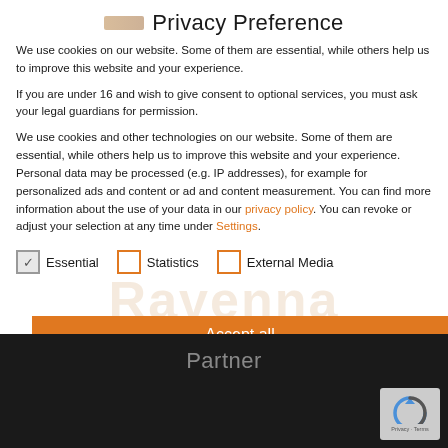Privacy Preference
We use cookies on our website. Some of them are essential, while others help us to improve this website and your experience.
If you are under 16 and wish to give consent to optional services, you must ask your legal guardians for permission.
We use cookies and other technologies on our website. Some of them are essential, while others help us to improve this website and your experience. Personal data may be processed (e.g. IP addresses), for example for personalized ads and content or ad and content measurement. You can find more information about the use of your data in our privacy policy. You can revoke or adjust your selection at any time under Settings.
☑ Essential   ☐ Statistics   ☐ External Media
Accept all
Partner